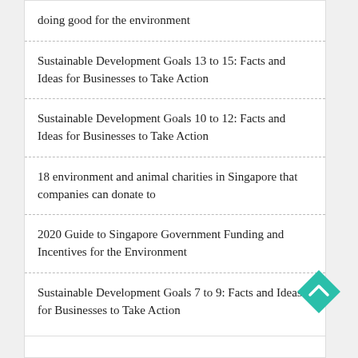doing good for the environment
Sustainable Development Goals 13 to 15: Facts and Ideas for Businesses to Take Action
Sustainable Development Goals 10 to 12: Facts and Ideas for Businesses to Take Action
18 environment and animal charities in Singapore that companies can donate to
2020 Guide to Singapore Government Funding and Incentives for the Environment
Sustainable Development Goals 7 to 9: Facts and Ideas for Businesses to Take Action